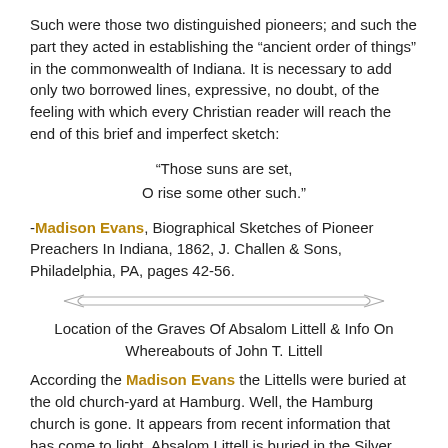Such were those two distinguished pioneers; and such the part they acted in establishing the “ancient order of things” in the commonwealth of Indiana. It is necessary to add only two borrowed lines, expressive, no doubt, of the feeling with which every Christian reader will reach the end of this brief and imperfect sketch:
"Those suns are set,
O rise some other such."
-Madison Evans, Biographical Sketches of Pioneer Preachers In Indiana, 1862, J. Challen & Sons, Philadelphia, PA, pages 42-56.
[Figure (illustration): Decorative horizontal divider with arrow-like ornamental lines pointing left and right]
Location of the Graves Of Absalom Littell & Info On Whereabouts of John T. Littell
According the Madison Evans the Littells were buried at the old church-yard at Hamburg. Well, the Hamburg church is gone. It appears from recent information that has come to light, Absalom Littell is buried in the Silver Creek Cemetery near Sellersburg, Indiana. Also, John Thompson Littell died at Washington, Indiana, the 11th of February, 1848. It is